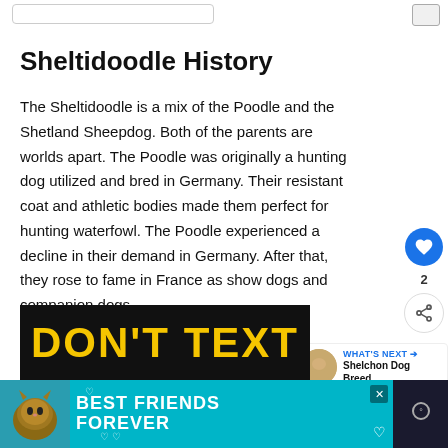Sheltidoodle History
The Sheltidoodle is a mix of the Poodle and the Shetland Sheepdog. Both of the parents are worlds apart. The Poodle was originally a hunting dog utilized and bred in Germany. Their resistant coat and athletic bodies made them perfect for hunting waterfowl. The Poodle experienced a decline in their demand in Germany. After that, they rose to fame in France as show dogs and companion dogs.
[Figure (screenshot): Video thumbnail showing text DON'T TEXT in yellow on black background]
[Figure (infographic): Advertisement banner: Best Friends Forever with cat image on teal/cyan background]